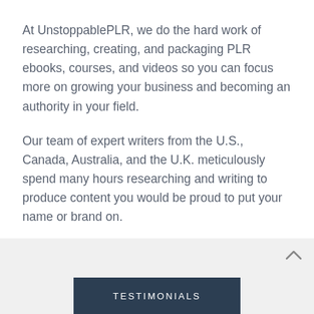At UnstoppablePLR, we do the hard work of researching, creating, and packaging PLR ebooks, courses, and videos so you can focus more on growing your business and becoming an authority in your field.
Our team of expert writers from the U.S., Canada, Australia, and the U.K. meticulously spend many hours researching and writing to produce content you would be proud to put your name or brand on.
TESTIMONIALS